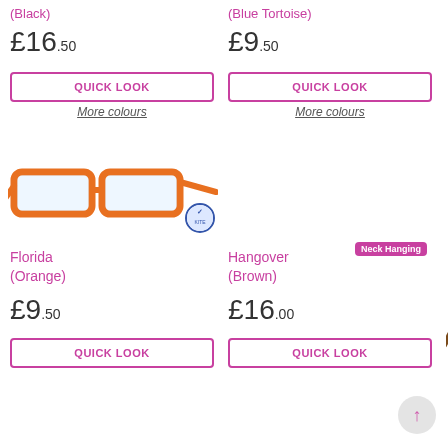(Black)
£16.50
QUICK LOOK
More colours
(Blue Tortoise)
£9.50
QUICK LOOK
More colours
[Figure (photo): Orange reading glasses – Florida model]
[Figure (photo): Brown and teal reading glasses – Hangover model with Neck Hanging badge]
Florida
(Orange)
£9.50
QUICK LOOK
Hangover
(Brown)
£16.00
QUICK LOOK